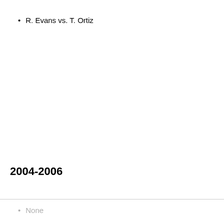R. Evans vs. T. Ortiz
2004-2006
None